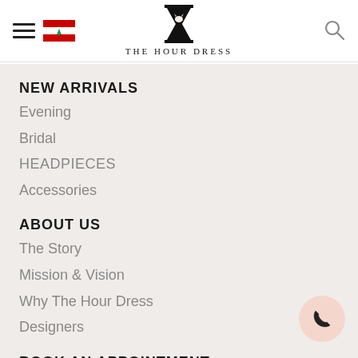The Hour Dress — navigation header with hamburger menu, Lebanese flag, logo, and search icon
NEW ARRIVALS
Evening
Bridal
HEADPIECES
Accessories
ABOUT US
The Story
Mission & Vision
Why The Hour Dress
Designers
BOOK AN APPOINTMENT
CONTACT US